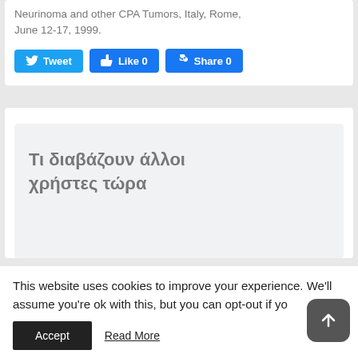Neurinoma and other CPA Tumors, Italy, Rome, June 12-17, 1999.
[Figure (screenshot): Social media sharing buttons: Tweet (Twitter), Like 0 (Facebook), Share 0 (Facebook)]
Τι διαβάζουν άλλοι χρήστες τώρα
This website uses cookies to improve your experience. We'll assume you're ok with this, but you can opt-out if yo
Accept   Read More